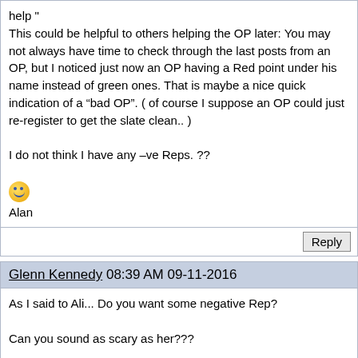help "
This could be helpful to others helping the OP later: You may not always have time to check through the last posts from an OP, but I noticed just now an OP having a Red point under his name instead of green ones. That is maybe a nice quick indication of a “bad OP”. ( of course I suppose an OP could just re-register to get the slate clean.. )

I do not think I have any –ve Reps. ??

Alan
Reply
Glenn Kennedy 08:39 AM 09-11-2016
As I said to Ali... Do you want some negative Rep?

Can you sound as scary as her???
Reply
Doc.AElstein 09:33 AM 09-11-2016
Originally Posted by Glenn Kennedy:
Can you sound as scary as her???
I doubt it....